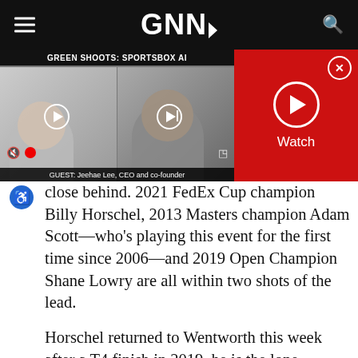GNN
[Figure (screenshot): Video player showing two people on a video call, with title bar 'GREEN SHOOTS: SPORTSBOX AI' and guest caption 'GUEST: Jeehae Lee, CEO and co-founder'. Adjacent red panel with Watch button and close (X) button.]
close behind. 2021 FedEx Cup champion Billy Horschel, 2013 Masters champion Adam Scott—who's playing this event for the first time since 2006—and 2019 Open Champion Shane Lowry are all within two shots of the lead.
Horschel returned to Wentworth this week after a T4 finish in 2019, he is the lone American who primarily plays